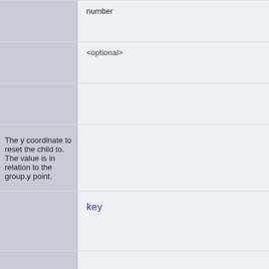|  | number |
|  | <optional> |
|  |  |
| The y coordinate to reset the child to. The value is in relation to the group.y point. |  |
|  | key |
| PIXI.Texture | string | Phaser.RenderTexture | Phaser.BitmapData | PhaserVideo | PIXI.Texture |
|  | <optional> |
|  |  |
|  |  |